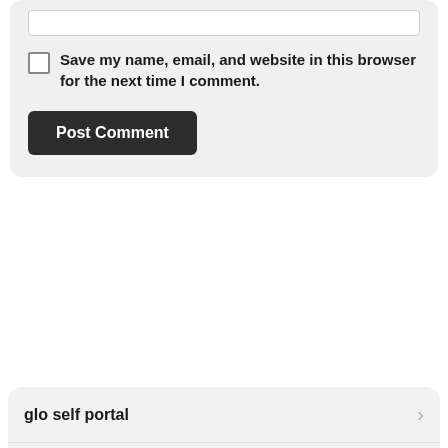Save my name, email, and website in this browser for the next time I comment.
Post Comment
glo self portal
glit student portal